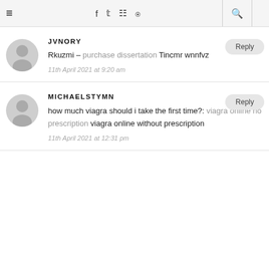≡  f  𝕥  ☷  ℗  🔍
JVNORY
Rkuzmi – purchase dissertation Tincmr wnnfvz
11th April 2021 at 9:20 am
MICHAELSTYMN
how much viagra should i take the first time?: viagra online no prescription viagra online without prescription
11th April 2021 at 12:31 pm